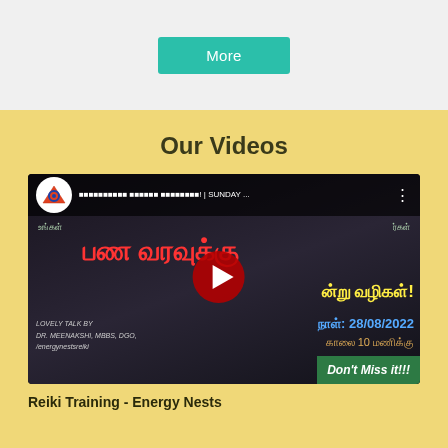[Figure (screenshot): Top section with light gray background showing a teal 'More' button]
Our Videos
[Figure (screenshot): YouTube video thumbnail showing Dr. Meenakshi MBBS DGO speaking about financial topics in Tamil, with red play button, Tamil text in red and yellow, date 28/08/2022, and Don't Miss it!!! green button in bottom right]
Reiki Training - Energy Nests